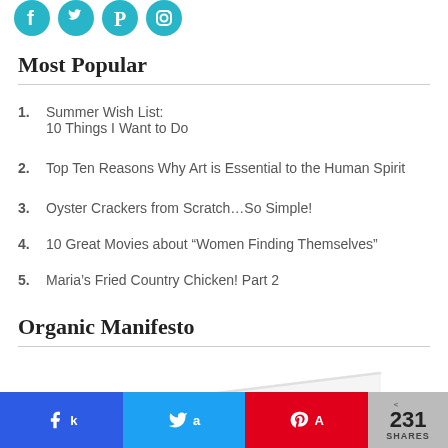[Figure (illustration): Four social media icons (Facebook, Twitter, Pinterest, Instagram) as teal circular buttons at top of page]
Most Popular
1. Summer Wish List: 10 Things I Want to Do
2. Top Ten Reasons Why Art is Essential to the Human Spirit
3. Oyster Crackers from Scratch…So Simple!
4. 10 Great Movies about “Women Finding Themselves”
5. Maria’s Fried Country Chicken! Part 2
Organic Manifesto
[Figure (photo): Partial image of a book (white cover with green spine) — Organic Manifesto book cover]
[Figure (infographic): Share bar with Facebook, Twitter, Pinterest buttons and 231 SHARES count]